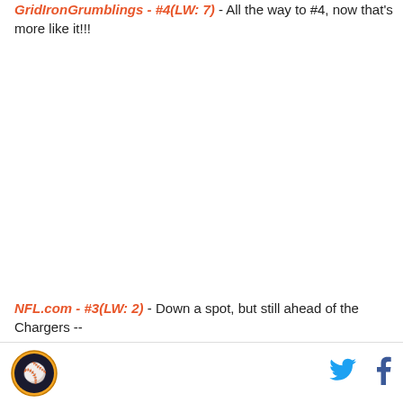GridIronGrumblings - #4(LW: 7) - All the way to #4, now that's more like it!!!
NFL.com - #3(LW: 2) - Down a spot, but still ahead of the Chargers --
[Figure (logo): Circular sports logo with athlete figure]